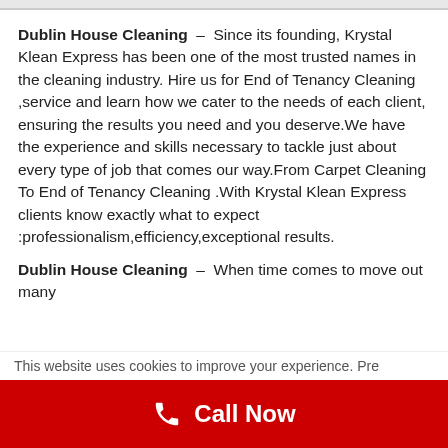Dublin House Cleaning – Since its founding, Krystal Klean Express has been one of the most trusted names in the cleaning industry. Hire us for End of Tenancy Cleaning ,service and learn how we cater to the needs of each client, ensuring the results you need and you deserve.We have the experience and skills necessary to tackle just about every type of job that comes our way.From Carpet Cleaning To End of Tenancy Cleaning .With Krystal Klean Express clients know exactly what to expect :professionalism,efficiency,exceptional results.
Dublin House Cleaning – When time comes to move out many
This website uses cookies to improve your experience. Pre...
Call Now